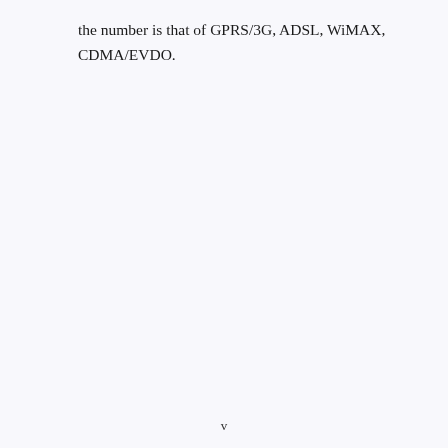the number is that of GPRS/3G, ADSL, WiMAX, CDMA/EVDO.
v